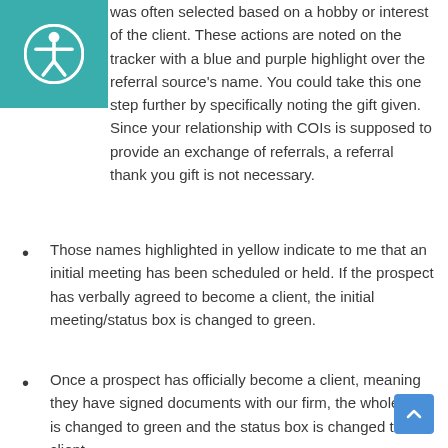Accessibility icon header
was often selected based on a hobby or interest of the client. These actions are noted on the tracker with a blue and purple highlight over the referral source's name. You could take this one step further by specifically noting the gift given. Since your relationship with COIs is supposed to provide an exchange of referrals, a referral thank you gift is not necessary.
Those names highlighted in yellow indicate to me that an initial meeting has been scheduled or held. If the prospect has verbally agreed to become a client, the initial meeting/status box is changed to green.
Once a prospect has officially become a client, meaning they have signed documents with our firm, the whole line is changed to green and the status box is changed to client.